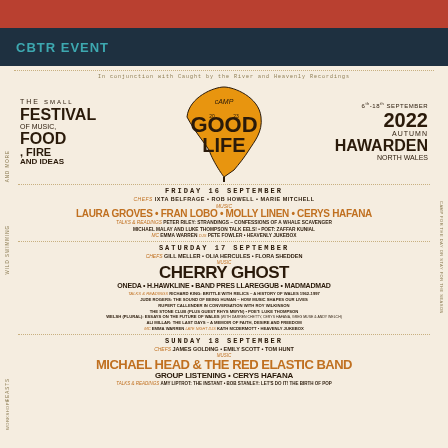CBTR EVENT
[Figure (infographic): Camp Good Life festival poster for 2022 Autumn event at Hawarden, North Wales, 16th-18th September 2022. Shows festival logo (leaf design with 'CAMP GOOD LIFE'), lineup information across three days.]
In conjunction with Caught by the River and Heavenly Recordings
FRIDAY 16 SEPTEMBER
CHEFS IXTA BELFRAGE • ROB HOWELL • MARIE MITCHELL
MUSIC LAURA GROVES • FRAN LOBO • MOLLY LINEN • CERYS HAFANA
TALKS & READINGS PETER RILEY: STRANDINGS – CONFESSIONS OF A WHALE SCAVENGER MICHAEL MALAY AND LUKE THOMPSON TALK EELS! • POET: ZAFFAR KUNIAL MC EMMA WARREN DJS PETE FOWLER • HEAVENLY JUKEBOX
SATURDAY 17 SEPTEMBER
CHEFS GILL MELLER • OLIA HERCULES • FLORA SHEDDEN
MUSIC CHERRY GHOST
ONEDA • H.HAWKLINE • BAND PRES LLAREGGUB • MADMADMAD
TALKS & READINGS RICHARD KING: BRITTLE WITH RELICS – A HISTORY OF WALES 1962-1997 JUDE ROGERS: THE SOUND OF BEING HUMAN – HOW MUSIC SHAPES OUR LIVES RUPERT CALLENDER IN CONVERSATION WITH ROY WILKINSON THE STONE CLUB (PLUS GUEST RHYS MWYN) • POET: LUKE THOMPSON WELSH (PLURAL): ESSAYS ON THE FUTURE OF WALES (WITH DARREN CHETTY, CERYS HAFANA, GREG MUSE & ANDY WELCH) ALI MILLAR: THE LAST DAYS – A MEMOIR OF FAITH, DESIRE AND FREEDOM MC EMMA WARREN LATE NIGHT DJS KATH MCDERMOTT • HEAVENLY JUKEBOX
SUNDAY 18 SEPTEMBER
CHEFS JAMES GOLDING • EMILY SCOTT • TOM HUNT
MUSIC MICHAEL HEAD & THE RED ELASTIC BAND
GROUP LISTENING • CERYS HAFANA
TALKS & READINGS AMY LIPTROT: THE INSTANT • BOB STANLEY: LET'S DO IT! THE BIRTH OF POP